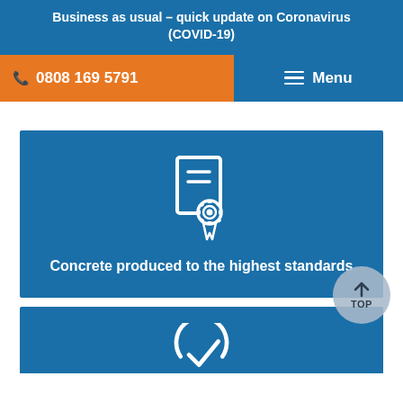Business as usual – quick update on Coronavirus (COVID-19)
📞 0808 169 5791
≡ Menu
[Figure (illustration): Certificate/document with award ribbon icon, white on blue background]
Concrete produced to the highest standards
[Figure (illustration): Circular checkmark/quality icon, white on blue background, partially visible at bottom]